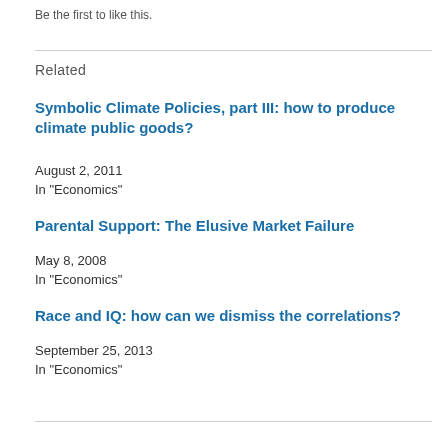Be the first to like this.
Related
Symbolic Climate Policies, part III: how to produce climate public goods?
August 2, 2011
In "Economics"
Parental Support: The Elusive Market Failure
May 8, 2008
In "Economics"
Race and IQ: how can we dismiss the correlations?
September 25, 2013
In "Economics"